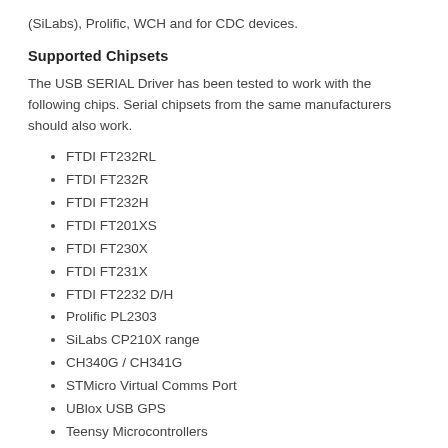(SiLabs), Prolific, WCH and for CDC devices.
Supported Chipsets
The USB SERIAL Driver has been tested to work with the following chips. Serial chipsets from the same manufacturers should also work.
FTDI FT232RL
FTDI FT232R
FTDI FT232H
FTDI FT201XS
FTDI FT230X
FTDI FT231X
FTDI FT2232 D/H
Prolific PL2303
SiLabs CP210X range
CH340G / CH341G
STMicro Virtual Comms Port
UBlox USB GPS
Teensy Microcontrollers
Arduino Boards using CDC (UNO, Mega, Leonardo etc)
Microchip MCP2200 (CDC)
CDC Communications